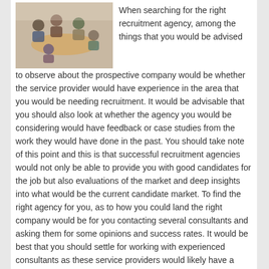[Figure (photo): People sitting around a table in a meeting or group discussion setting, viewed from above at an angle.]
When searching for the right recruitment agency, among the things that you would be advised to observe about the prospective company would be whether the service provider would have experience in the area that you would be needing recruitment. It would be advisable that you should also look at whether the agency you would be considering would have feedback or case studies from the work they would have done in the past. You should take note of this point and this is that successful recruitment agencies would not only be able to provide you with good candidates for the job but also evaluations of the market and deep insights into what would be the current candidate market. To find the right agency for you, as to how you could land the right company would be for you contacting several consultants and asking them for some opinions and success rates. It would be best that you should settle for working with experienced consultants as these service providers would likely have a good reputation in the market. They would